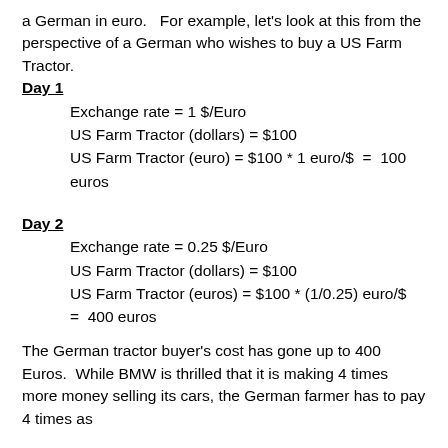a German in euro.   For example, let's look at this from the perspective of a German who wishes to buy a US Farm Tractor.
Day 1
Exchange rate = 1 $/Euro
US Farm Tractor (dollars) = $100
US Farm Tractor (euro) = $100 * 1 euro/$  =  100 euros
Day 2
Exchange rate = 0.25 $/Euro
US Farm Tractor (dollars) = $100
US Farm Tractor (euros) = $100 * (1/0.25) euro/$  =  400 euros
The German tractor buyer's cost has gone up to 400 Euros.  While BMW is thrilled that it is making 4 times more money selling its cars, the German farmer has to pay 4 times as